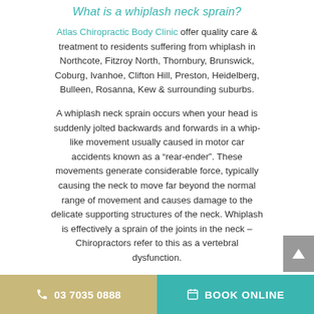What is a whiplash neck sprain?
Atlas Chiropractic Body Clinic offer quality care & treatment to residents suffering from whiplash in Northcote, Fitzroy North, Thornbury, Brunswick, Coburg, Ivanhoe, Clifton Hill, Preston, Heidelberg, Bulleen, Rosanna, Kew & surrounding suburbs.
A whiplash neck sprain occurs when your head is suddenly jolted backwards and forwards in a whip-like movement usually caused in motor car accidents known as a “rear-ender”. These movements generate considerable force, typically causing the neck to move far beyond the normal range of movement and causes damage to the delicate supporting structures of the neck. Whiplash is effectively a sprain of the joints in the neck – Chiropractors refer to this as a vertebral dysfunction.
Whiplash can also result from forceful sporting
03 7035 0888   BOOK ONLINE